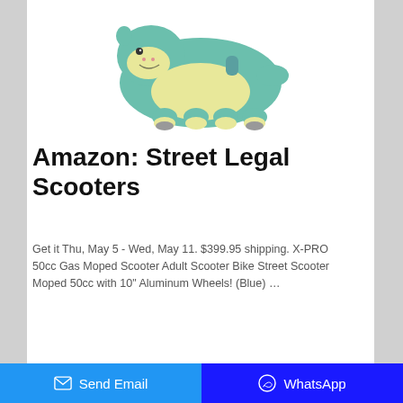[Figure (photo): A plush toy styled as a green dinosaur/hippo animal on wheels, with yellow underbelly and feet, smiling face. Product image for a children's ride-on toy.]
Amazon: Street Legal Scooters
Get it Thu, May 5 - Wed, May 11. $399.95 shipping. X-PRO 50cc Gas Moped Scooter Adult Scooter Bike Street Scooter Moped 50cc with 10" Aluminum Wheels! (Blue) …
Send Email   WhatsApp